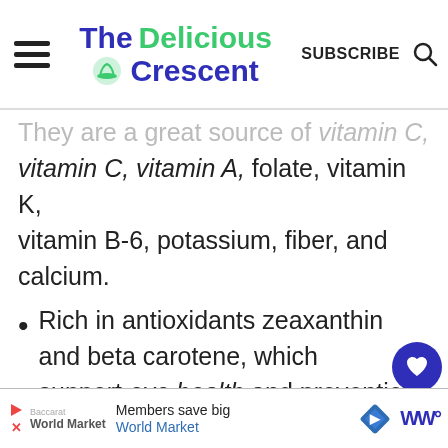The Delicious Crescent — SUBSCRIBE
They are a great source of vitamin C, vitamin A, folate, vitamin K, vitamin B-6, potassium, fiber, and calcium.
Rich in antioxidants zeaxanthin and beta carotene, which support eye health and prevention of certain cancers.
It is a great fruit for staying
Members save big World Market [ad]